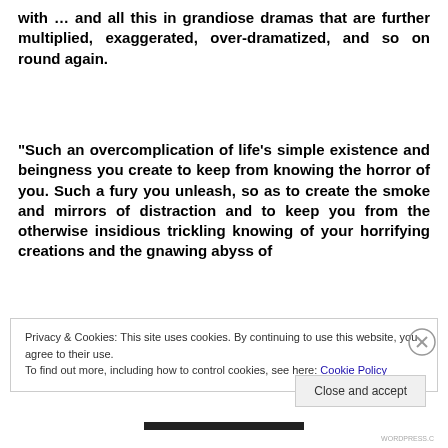with … and all this in grandiose dramas that are further multiplied, exaggerated, over-dramatized, and so on round again.
“Such an overcomplication of life’s simple existence and beingness you create to keep from knowing the horror of you. Such a fury you unleash, so as to create the smoke and mirrors of distraction and to keep you from the otherwise insidious trickling knowing of your horrifying creations and the gnawing abyss of
Privacy & Cookies: This site uses cookies. By continuing to use this website, you agree to their use.
To find out more, including how to control cookies, see here: Cookie Policy
Close and accept